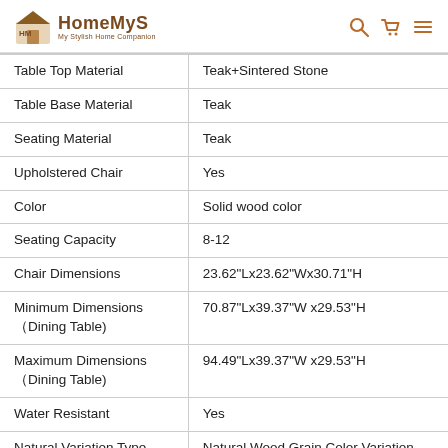HomeMyS — My Stylish Home Companion
| Property | Value |
| --- | --- |
| Table Top Material | Teak+Sintered Stone |
| Table Base Material | Teak |
| Seating Material | Teak |
| Upholstered Chair | Yes |
| Color | Solid wood color |
| Seating Capacity | 8-12 |
| Chair Dimensions | 23.62"Lx23.62"Wx30.71"H |
| Minimum Dimensions（Dining Table) | 70.87"Lx39.37"W x29.53"H |
| Maximum Dimensions（Dining Table) | 94.49"Lx39.37"W x29.53"H |
| Water Resistant | Yes |
| Natural Variation Type | Natural Wood Grain Color Variation |
| Style | Modern |